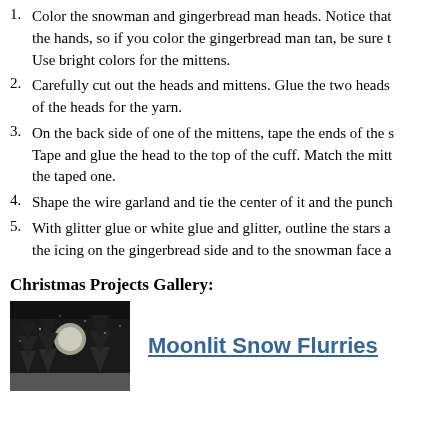Color the snowman and gingerbread man heads. Notice that the hands, so if you color the gingerbread man tan, be sure t Use bright colors for the mittens.
Carefully cut out the heads and mittens. Glue the two heads of the heads for the yarn.
On the back side of one of the mittens, tape the ends of the s Tape and glue the head to the top of the cuff. Match the mitt the taped one.
Shape the wire garland and tie the center of it and the punch
With glitter glue or white glue and glitter, outline the stars a the icing on the gingerbread side and to the snowman face a
Christmas Projects Gallery:
[Figure (photo): A grayscale image depicting a moonlit winter scene with pine trees and snow flurries]
Moonlit Snow Flurries